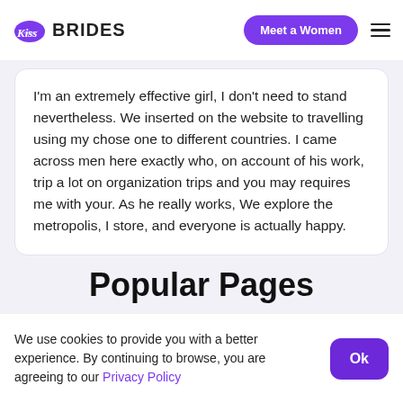Kiss Brides — Meet a Women
I'm an extremely effective girl, I don't need to stand nevertheless. We inserted on the website to travelling using my chose one to different countries. I came across men here exactly who, on account of his work, trip a lot on organization trips and you may requires me with your. As he really works, We explore the metropolis, I store, and everyone is actually happy.
Popular Pages
We use cookies to provide you with a better experience. By continuing to browse, you are agreeing to our Privacy Policy